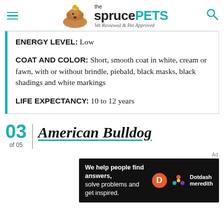the spruce PETS — Vet Reviewed & Pet Approved
ENERGY LEVEL: Low
COAT AND COLOR: Short, smooth coat in white, cream or fawn, with or without brindle, piebald, black masks, black shadings and white markings
LIFE EXPECTANCY: 10 to 12 years
03 of 05 American Bulldog
[Figure (other): Dotdash Meredith advertisement banner: 'We help people find answers, solve problems and get inspired.']